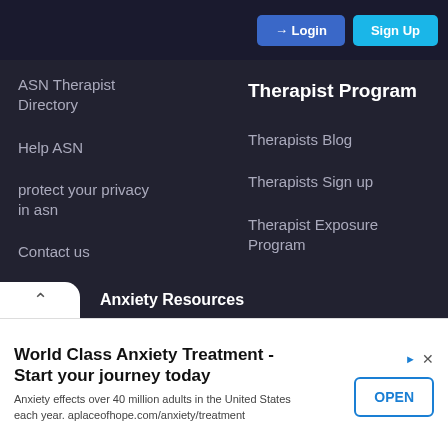[Figure (screenshot): Top navigation bar with Login and Sign Up buttons on dark background]
ASN Therapist Directory
Therapist Program
Help ASN
Therapists Blog
protect your privacy in asn
Therapists Sign up
Contact us
Therapist Exposure Program
How to Delete My Acount
Anxiety Resources
World Class Anxiety Treatment - Start your journey today
Anxiety effects over 40 million adults in the United States each year. aplaceofhope.com/anxiety/treatment